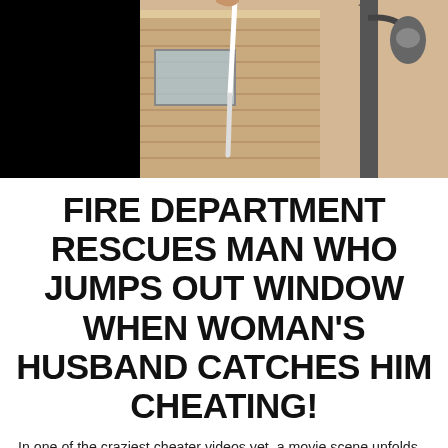[Figure (photo): Photo showing a building exterior with wood-paneled facade and ornate lamp post on the right. Left portion is a black panel. A rope or sheet hangs from an upper floor balcony.]
FIRE DEPARTMENT RESCUES MAN WHO JUMPS OUT WINDOW WHEN WOMAN'S HUSBAND CATCHES HIM CHEATING!
In one of the craziest cheater videos yet, a movie scene unfolds when a wife's affair goes wrong.  While this wife was having an affair with another man, her husband retur...